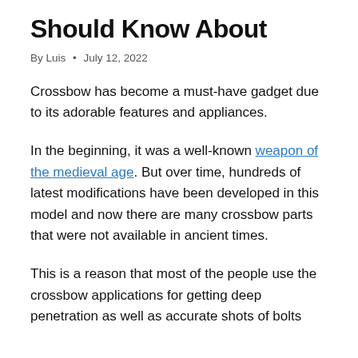Should Know About
By Luis • July 12, 2022
Crossbow has become a must-have gadget due to its adorable features and appliances.
In the beginning, it was a well-known weapon of the medieval age. But over time, hundreds of latest modifications have been developed in this model and now there are many crossbow parts that were not available in ancient times.
This is a reason that most of the people use the crossbow applications for getting deep penetration as well as accurate shots of bolts